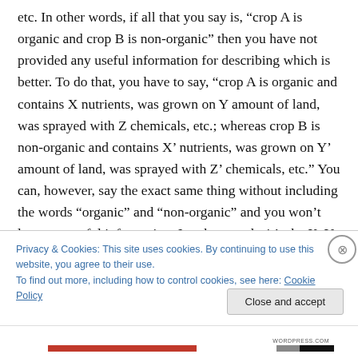etc. In other words, if all that you say is, “crop A is organic and crop B is non-organic” then you have not provided any useful information for describing which is better. To do that, you have to say, “crop A is organic and contains X nutrients, was grown on Y amount of land, was sprayed with Z chemicals, etc.; whereas crop B is non-organic and contains X’ nutrients, was grown on Y’ amount of land, was sprayed with Z’ chemicals, etc.” You can, however, say the exact same thing without including the words “organic” and “non-organic” and you won’t lose any useful information. In other words, it’s the X, Y, and Z bits that
Privacy & Cookies: This site uses cookies. By continuing to use this website, you agree to their use.
To find out more, including how to control cookies, see here: Cookie Policy
Close and accept